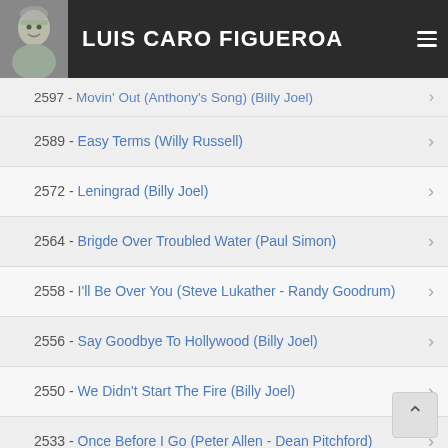LUIS CARO FIGUEROA
2597 - Movin' Out (Anthony's Song) (Billy Joel)
2589 - Easy Terms (Willy Russell)
2572 - Leningrad (Billy Joel)
2564 - Brigde Over Troubled Water (Paul Simon)
2558 - I'll Be Over You (Steve Lukather - Randy Goodrum)
2556 - Say Goodbye To Hollywood (Billy Joel)
2550 - We Didn't Start The Fire (Billy Joel)
2533 - Once Before I Go (Peter Allen - Dean Pitchford)